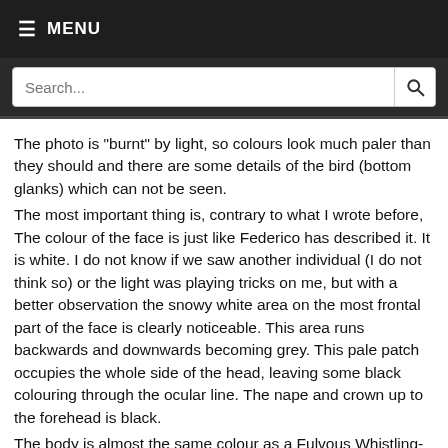☰ MENU
Search...
The photo is "burnt" by light, so colours look much paler than they should and there are some details of the bird (bottom glanks) which can not be seen.
The most important thing is, contrary to what I wrote before, The colour of the face is just like Federico has described it. It is white. I do not know if we saw another individual (I do not think so) or the light was playing tricks on me, but with a better observation the snowy white area on the most frontal part of the face is clearly noticeable. This area runs backwards and downwards becoming grey. This pale patch occupies the whole side of the head, leaving some black colouring through the ocular line. The nape and crown up to the forehead is black.
The body is almost the same colour as a Fulvous Whistling-Duck, with the presence of the typical white "fringes" on the flanks, though a bit smaller and narrower than in the Fulvous Whistling-Duck. Yesterday I discovered another characteristic